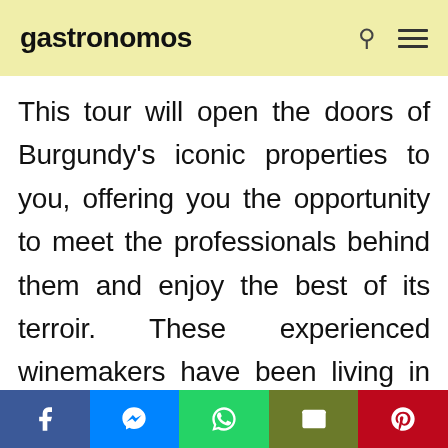gastronomos
This tour will open the doors of Burgundy's iconic properties to you, offering you the opportunity to meet the professionals behind them and enjoy the best of its terroir. These experienced winemakers have been living in the region for many years and will enchant you with their friendliness and knowledge of wines and the region.
Social share bar: Facebook, Messenger, WhatsApp, Email, Pinterest